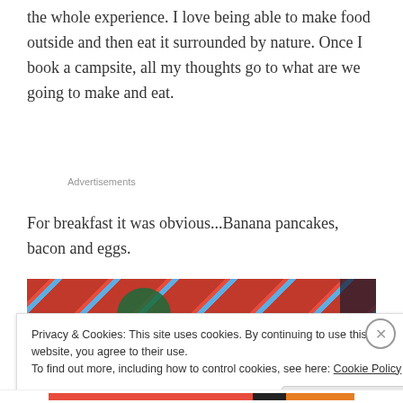the whole experience. I love being able to make food outside and then eat it surrounded by nature. Once I book a campsite, all my thoughts go to what are we going to make and eat.
Advertisements
For breakfast it was obvious...Banana pancakes, bacon and eggs.
[Figure (photo): Close-up photo of colorful woven fabric/mat in red and cyan/teal pattern, with a dark green circular object visible]
Privacy & Cookies: This site uses cookies. By continuing to use this website, you agree to their use.
To find out more, including how to control cookies, see here: Cookie Policy
Close and accept